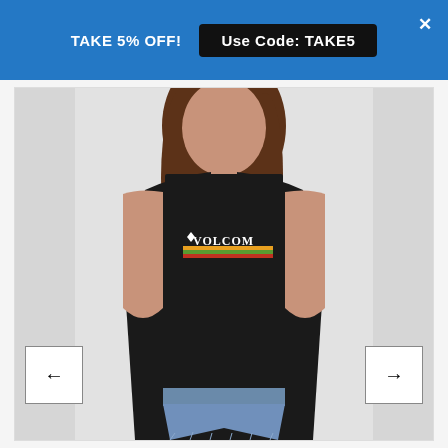TAKE 5% OFF!  Use Code: TAKE5
[Figure (photo): A woman wearing a black Volcom sleeveless muscle tank top with a rainbow stripe and Volcom logo graphic on the chest, paired with light blue denim cutoff shorts. Shot against a light gray background.]